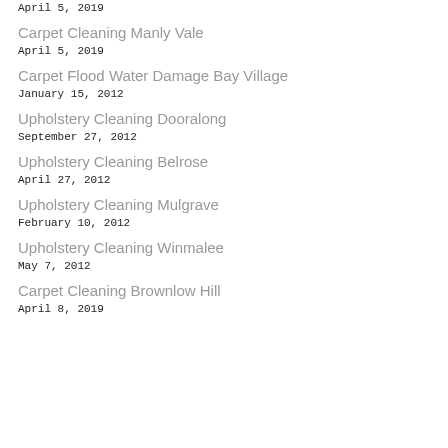April 5, 2019
Carpet Cleaning Manly Vale
April 5, 2019
Carpet Flood Water Damage Bay Village
January 15, 2012
Upholstery Cleaning Dooralong
September 27, 2012
Upholstery Cleaning Belrose
April 27, 2012
Upholstery Cleaning Mulgrave
February 10, 2012
Upholstery Cleaning Winmalee
May 7, 2012
Carpet Cleaning Brownlow Hill
April 8, 2019